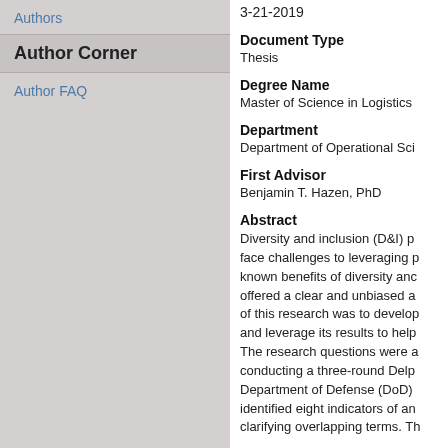Authors
Author Corner
Author FAQ
3-21-2019
Document Type
Thesis
Degree Name
Master of Science in Logistics
Department
Department of Operational Sci
First Advisor
Benjamin T. Hazen, PhD
Abstract
Diversity and inclusion (D&I) p... face challenges to leveraging p... known benefits of diversity anc... offered a clear and unbiased a... of this research was to develop... and leverage its results to help... The research questions were a... conducting a three-round Delp... Department of Defense (DoD)... identified eight indicators of an... clarifying overlapping terms. Th